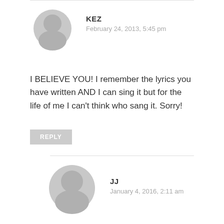[Figure (illustration): Gray default user avatar icon for commenter KEZ]
KEZ
February 24, 2013, 5:45 pm
I BELIEVE YOU! I remember the lyrics you have written AND I can sing it but for the life of me I can't think who sang it. Sorry!
REPLY
[Figure (illustration): Gray default user avatar icon for commenter JJ]
JJ
January 4, 2016, 2:11 am